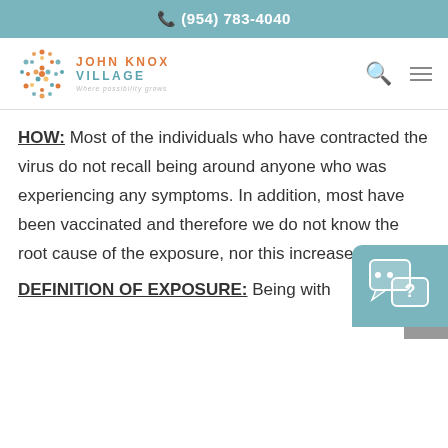(954) 783-4040
[Figure (logo): John Knox Village logo with colorful emblem and text 'JOHN KNOX VILLAGE Where possibility grows']
HOW: Most of the individuals who have contracted the virus do not recall being around anyone who was experiencing any symptoms. In addition, most have been vaccinated and therefore we do not know the root cause of the exposure, nor this increase in cases.
DEFINITION OF EXPOSURE: Being with